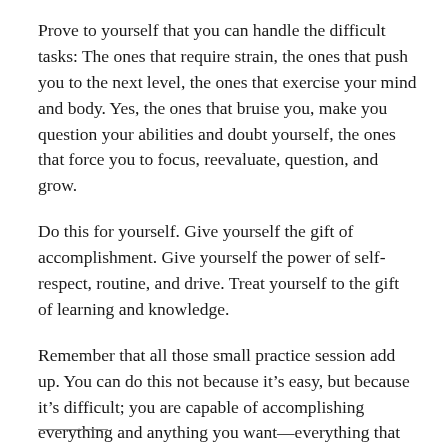Prove to yourself that you can handle the difficult tasks: The ones that require strain, the ones that push you to the next level, the ones that exercise your mind and body. Yes, the ones that bruise you, make you question your abilities and doubt yourself, the ones that force you to focus, reevaluate, question, and grow.
Do this for yourself. Give yourself the gift of accomplishment. Give yourself the power of self-respect, routine, and drive. Treat yourself to the gift of learning and knowledge.
Remember that all those small practice session add up. You can do this not because it’s easy, but because it’s difficult; you are capable of accomplishing everything and anything you want—everything that matters, everything that’s difficult.
___